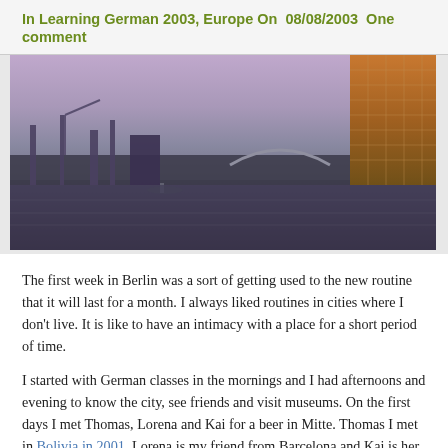In Learning German 2003, Europe On  08/08/2003  One comment
[Figure (photo): Waterfront cityscape at dusk/twilight showing a river or harbor with boats, industrial cranes, and a tall modern building with a distinctive grid facade on the right. Soft purple-pink sky.]
The first week in Berlin was a sort of getting used to the new routine that it will last for a month. I always liked routines in cities where I don't live. It is like to have an intimacy with a place for a short period of time.
I started with German classes in the mornings and I had afternoons and evening to know the city, see friends and visit museums. On the first days I met Thomas, Lorena and Kai for a beer in Mitte. Thomas I met in Bolivia in 2001. Lorena is my friend from Barcelona and Kai is her friend. We enjoy the warm Berliner night sitting outside and chatting about travels. The talk was a mixture of Spanish and English with some words in Portuguese and German.
I visited the Wall Museum (Haus am Checkpoint Charlie) with Lorena. I thought it was a little disorganized, there was a great